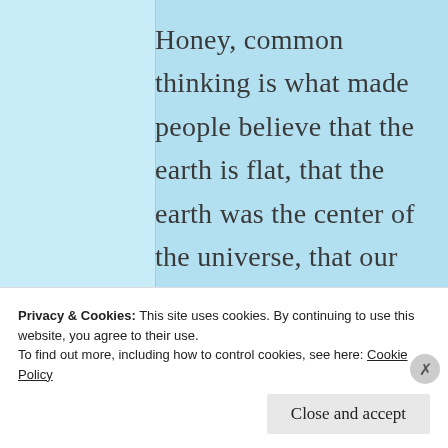Honey, common thinking is what made people believe that the earth is flat, that the earth was the center of the universe, that our atmosphere is a fermented. The list of
Privacy & Cookies: This site uses cookies. By continuing to use this website, you agree to their use.
To find out more, including how to control cookies, see here: Cookie Policy
Close and accept